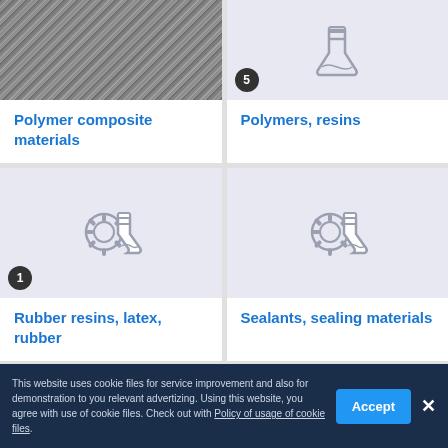[Figure (screenshot): Product category grid showing material categories with icons. Top row: Polymer composite materials (photo of carbon fiber), Polymers resins (flask icon with badge 5). Middle row: Rubber resins latex rubber (flask/gear icon with badge 1), Sealants sealing materials (flask/gear icon). Bottom row: Two more categories partially visible. Cookie consent banner at bottom.]
Polymer composite materials
Polymers, resins
Rubber resins, latex, rubber
Sealants, sealing materials
This website uses cookie files for service improvement and also for demonstration to you relevant advertizing. Using this website, you agree with use of cookie files. Check out with Policy of usage of cookie files.